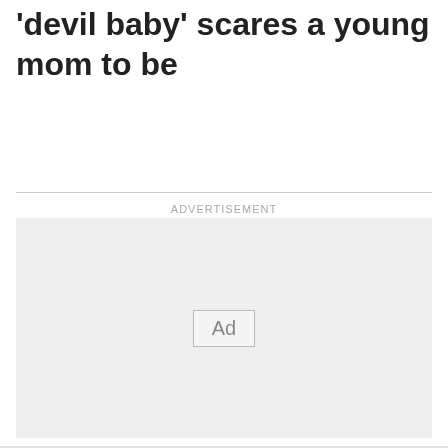'devil baby' scares a young mom to be
ADVERTISEMENT
[Figure (other): Advertisement placeholder box with 'Ad' button in center on light gray background]